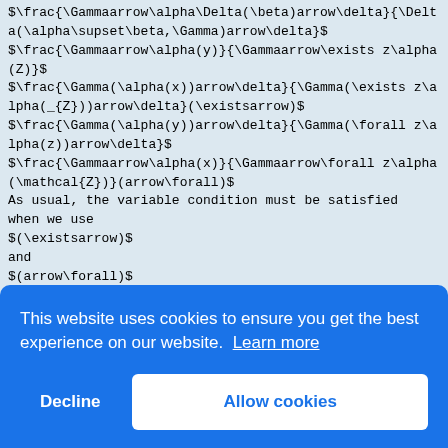$\frac{\Gammaarrow\alpha\Delta(\beta)arrow\delta}{\Delta(\alpha\supset\beta,\Gamma)arrow\delta}$
$\frac{\Gammaarrow\alpha(y)}{\Gammaarrow\exists z\alpha(Z)}$
$\frac{\Gamma(\alpha(x))arrow\delta}{\Gamma(\exists z\alpha(_{Z}))arrow\delta}(\existsarrow)$
$\frac{\Gamma(\alpha(y))arrow\delta}{\Gamma(\forall z\alpha(z))arrow\delta}$
$\frac{\Gammaarrow\alpha(x)}{\Gammaarrow\forall z\alpha(\mathcal{Z})}(arrow\forall)$
As usual, the variable condition must be satisfied
when we use
$(\existsarrow)$
and
$(arrow\forall)$
.
, it can be regarded also
Since any sequent of $DFL_{e}$ is of the form
by identifying commas appearing in it with commas in
the
as a sequent of
defi
foll
$\al
$D_{
$\al
$\ld
98
Theo
prov
$S$
of
$DFL_{e},$
[Figure (screenshot): Cookie consent overlay banner with blue background. Text reads: 'This website uses cookies to ensure you get the best experience on our website. Learn more' with 'Decline' and 'Allow cookies' buttons.]